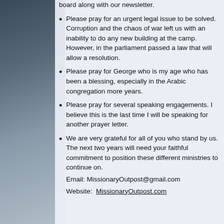board along with our newsletter.
Please pray for an urgent legal issue to be solved. Corruption and the chaos of war left us with an inability to do any new building at the camp. However, in the parliament passed a law that will allow a resolution.
Please pray for George who is my age who has been a blessing, especially in the Arabic congregation more years.
Please pray for several speaking engagements. I believe this is the last time I will be speaking for another prayer letter.
We are very grateful for all of you who stand by us. The next two years will need your faithful commitment to position these different ministries to continue on.
Email: MissionaryOutpost@gmail.com
Website: MissionaryOutpost.com